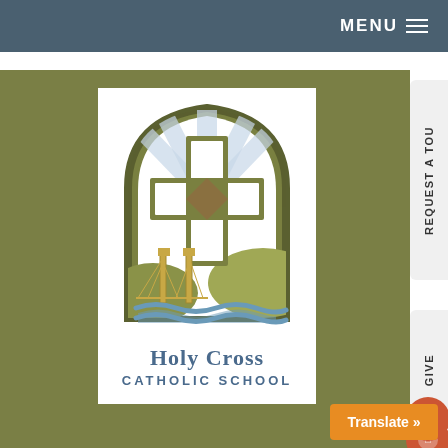MENU
[Figure (logo): Holy Cross Catholic School logo featuring a Celtic cross with stained glass window arch, St. Johns Bridge, hills, and water waves below]
Holy Cross Catholic School
Translate »
REQUEST A TOUR
GIVE